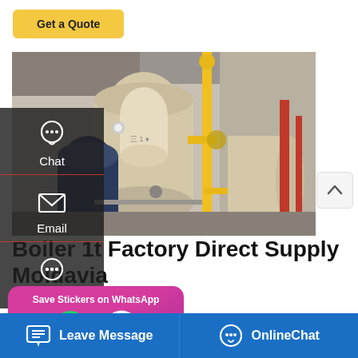[Figure (other): Get a Quote button - yellow/gold rounded button]
[Figure (photo): Industrial boilers in a factory setting - large cylindrical tan/beige boiler units with yellow piping, blue machinery components, industrial facility interior]
Boiler 1t Factory Direct Supply Moldavia
chine Moldavia. 20t Factory Price
t Moldavia. Industrial Agent 1t Coal
[Figure (other): Save Stickers on WhatsApp popup with phone and chat icons]
[Figure (other): Leave Message and OnlineChat bottom navigation bar]